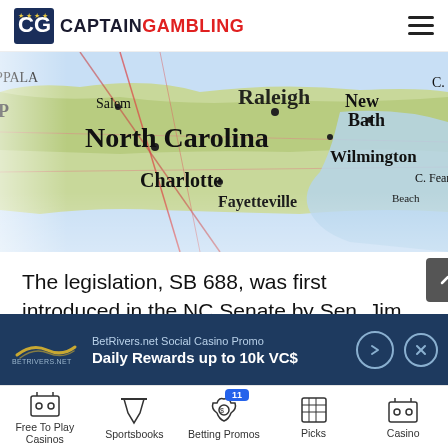CaptainGambling
[Figure (map): Map of North Carolina showing cities including Raleigh, Charlotte, Fayetteville, Wilmington, Salem, and others]
The legislation, SB 688, was first introduced in the NC Senate by Sen. Jim Perry and Sen. Paul Lowe in April this year, but it did not make any significant strides until early this month. The last three weeks have seen the
[Figure (infographic): BetRivers.net Social Casino Promo advertisement banner - Daily Rewards up to 10k VC$]
Free To Play Casinos | Sportsbooks | Betting Promos (11) | Picks | Casino